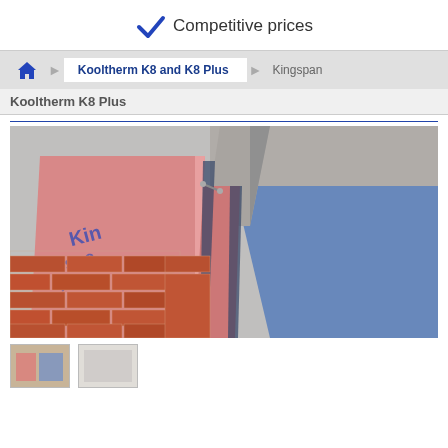✓ Competitive prices
[Figure (screenshot): Breadcrumb navigation showing: home icon > Kooltherm K8 and K8 Plus > Kingspan, with sub-item Kooltherm K8 Plus]
[Figure (photo): 3D cutaway illustration of Kingspan Kooltherm K8 Plus insulation board installed in a cavity wall, showing pink insulation panels with Kingspan branding, brick outer leaf, concrete block inner leaf, and blue internal render/board layer]
[Figure (photo): Partial thumbnail images at bottom of page showing product details]